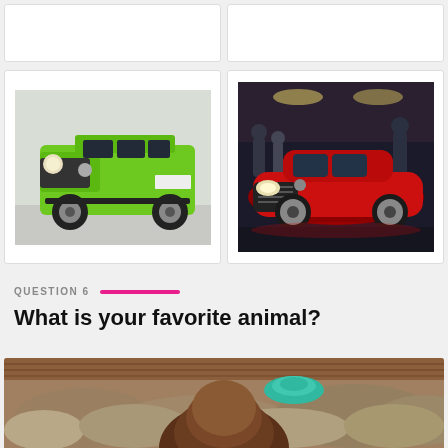[Figure (photo): Top row: two white card placeholders (partially visible at top)]
[Figure (photo): Green Mercedes G-Class SUV in a white room/garage setting]
[Figure (photo): Red Bentley Continental GT at an auto show with people in background]
QUESTION 6
What is your favorite animal?
[Figure (photo): Woman with brown hair and teal/turquoise headband viewed from behind, outdoors with shrubby landscape]